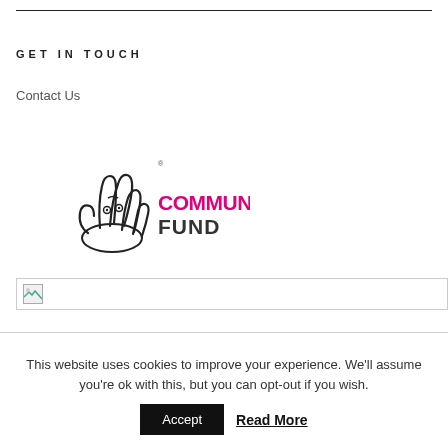GET IN TOUCH
Contact Us
[Figure (logo): National Lottery Community Fund logo — a hand with crossed fingers (black outline) alongside the text 'COMMUNITY FUND' in magenta/pink and dark grey]
[Figure (other): Broken image placeholder with small icon]
This website uses cookies to improve your experience. We'll assume you're ok with this, but you can opt-out if you wish.
Accept
Read More